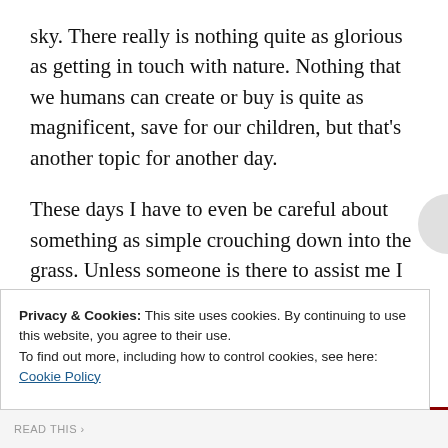sky. There really is nothing quite as glorious as getting in touch with nature. Nothing that we humans can create or buy is quite as magnificent, save for our children, but that's another topic for another day.
These days I have to even be careful about something as simple crouching down into the grass. Unless someone is there to assist me I may have a very difficult time getting back up if it's a day when my knees decide to get surly. Of course I am unable to climb anymore, and even if I had the ability it would be dangerous for me. One small missten might create a fall bad enough to break
Privacy & Cookies: This site uses cookies. By continuing to use this website, you agree to their use.
To find out more, including how to control cookies, see here:
Cookie Policy
Close and accept